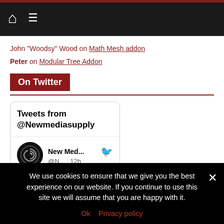Navigation bar with home and menu icons
John "Woodsy" Wood on Math Mesh addon
Peter on Modular Tree Addon
On Twitter
[Figure (screenshot): Twitter widget showing 'Tweets from @Newmediasupply' with New Med... @N... · 12h and Twitter bird icon]
We use cookies to ensure that we give you the best experience on our website. If you continue to use this site we will assume that you are happy with it.
Ok   Privacy policy